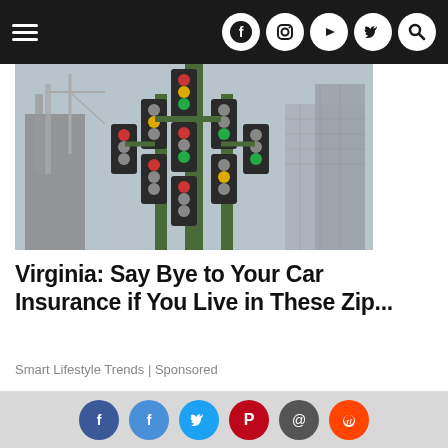Navigation bar with hamburger menu and social icons (Facebook, Instagram, YouTube, Twitter, Search)
[Figure (photo): Tree-like structure with many traffic lights stacked on top of each other, with city buildings and cranes in the background, overcast sky]
Virginia: Say Bye to Your Car Insurance if You Live in These Zip...
Smart Lifestyle Trends | Sponsored
[Figure (photo): Partial image of an elderly man with glasses at what appears to be a dental office, and another partial image of an elderly person]
Social sharing bar with Facebook, Facebook, Twitter, Pinterest, Email, Reddit icons